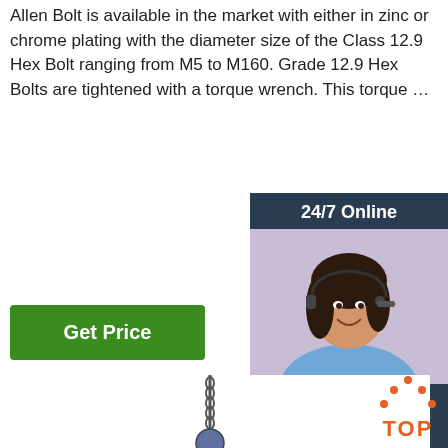Allen Bolt is available in the market with either in zinc or chrome plating with the diameter size of the Class 12.9 Hex Bolt ranging from M5 to M160. Grade 12.9 Hex Bolts are tightened with a torque wrench. This torque …
[Figure (other): Green Get Price button]
[Figure (photo): Customer service representative with headset, 24/7 Online sidebar with QUOTATION button]
[Figure (photo): Steel I-beam being lifted by crane hook with wire ropes]
[Figure (other): TOP badge with orange dots and text]